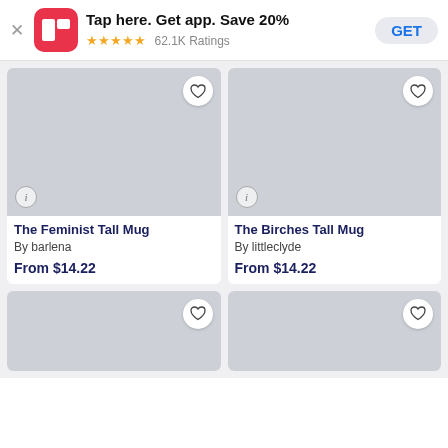Tap here. Get app. Save 20% ★★★★★ 62.1K Ratings GET
[Figure (screenshot): Product image placeholder for The Feminist Tall Mug, grey background with heart button and info icon]
The Feminist Tall Mug
By barlena

From $14.22
[Figure (screenshot): Product image placeholder for The Birches Tall Mug, grey background with heart button and info icon]
The Birches Tall Mug
By littleclyde

From $14.22
[Figure (screenshot): Product image placeholder, grey background with heart button, partially visible]
[Figure (screenshot): Product image placeholder, grey background with heart button, partially visible]